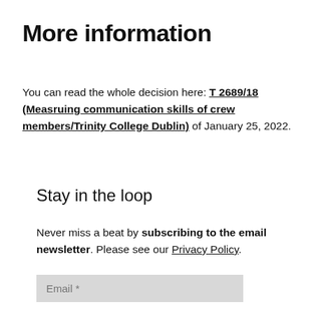More information
You can read the whole decision here: T 2689/18 (Measruing communication skills of crew members/Trinity College Dublin) of January 25, 2022.
Stay in the loop
Never miss a beat by subscribing to the email newsletter. Please see our Privacy Policy.
Email *